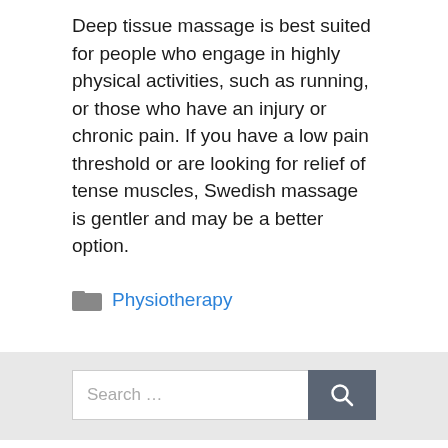Deep tissue massage is best suited for people who engage in highly physical activities, such as running, or those who have an injury or chronic pain. If you have a low pain threshold or are looking for relief of tense muscles, Swedish massage is gentler and may be a better option.
Physiotherapy
[Figure (screenshot): Search bar with text 'Search ...' and a dark search button with magnifying glass icon]
From me